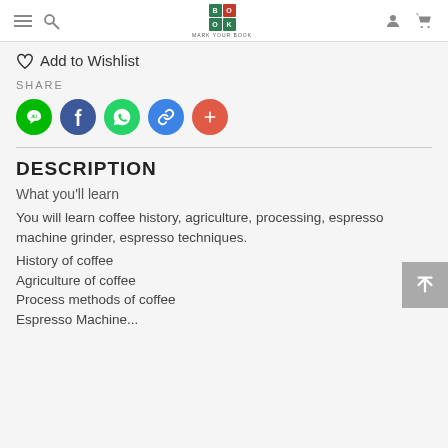Mark Your Book — navigation bar with hamburger, search, logo, user, cart icons
♡ Add to Wishlist
SHARE
[Figure (infographic): Row of 5 circular social share buttons: LINE (green), Facebook (dark blue), WhatsApp (green), Copy Link (blue), More (red/orange)]
DESCRIPTION
What you'll learn
You will learn coffee history, agriculture, processing, espresso machine grinder, espresso techniques.
History of coffee
Agriculture of coffee
Process methods of coffee
Espresso Machine...